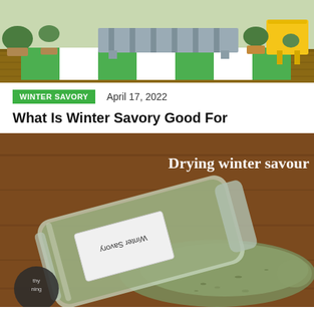[Figure (photo): Outdoor patio scene with a wooden pallet coffee table on a green and white striped rug, potted plants, and a yellow chair]
WINTER SAVORY    April 17, 2022
What Is Winter Savory Good For
[Figure (photo): A glass jar labeled 'Winter Savory' tipped on its side on a wooden surface with dried herb spilling out, text overlay reads 'Drying winter savour']